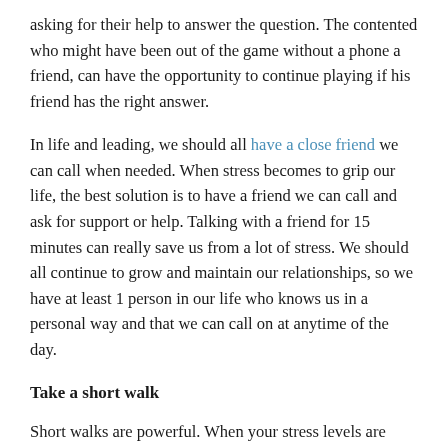asking for their help to answer the question. The contented who might have been out of the game without a phone a friend, can have the opportunity to continue playing if his friend has the right answer.
In life and leading, we should all have a close friend we can call when needed. When stress becomes to grip our life, the best solution is to have a friend we can call and ask for support or help. Talking with a friend for 15 minutes can really save us from a lot of stress. We should all continue to grow and maintain our relationships, so we have at least 1 person in our life who knows us in a personal way and that we can call on at anytime of the day.
Take a short walk
Short walks are powerful. When your stress levels are increasing at a fast pace, a quick solution to lower the stress is to take a 10-15-minute walk. I've had to discipline myself to